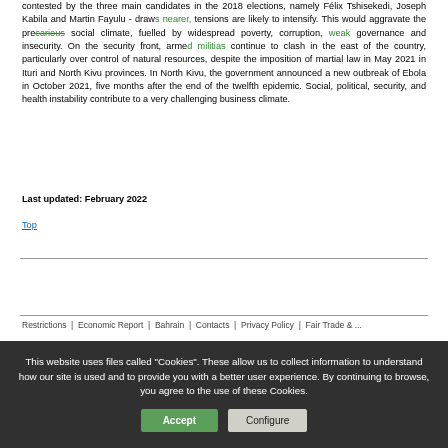contested by the three main candidates in the 2018 elections, namely Félix Tshisekedi, Joseph Kabila and Martin Fayulu - draws nearer, tensions are likely to intensify. This would aggravate the precarious social climate, fuelled by widespread poverty, corruption, weak governance and insecurity. On the security front, armed militias continue to clash in the east of the country, particularly over control of natural resources, despite the imposition of martial law in May 2021 in Ituri and North Kivu provinces. In North Kivu, the government announced a new outbreak of Ebola in October 2021, five months after the end of the twelfth epidemic. Social, political, security, and health instability contribute to a very challenging business climate.
Last updated: February 2022
Top
This website uses files called "Cookies". These allow us to collect information to understand how our site is used and to provide you with a better user experience. By continuing to browse, you agree to the use of these Cookies.